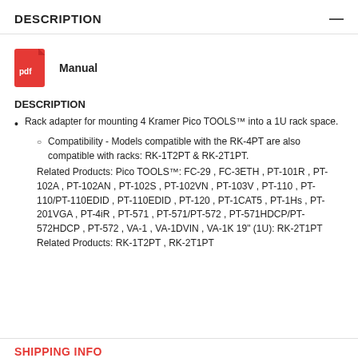DESCRIPTION
[Figure (illustration): Red PDF file icon with 'pdf' label in white text]
Manual
DESCRIPTION
Rack adapter for mounting 4 Kramer Pico TOOLS™ into a 1U rack space.
Compatibility - Models compatible with the RK-4PT are also compatible with racks: RK-1T2PT & RK-2T1PT. Related Products: Pico TOOLS™: FC-29 , FC-3ETH , PT-101R , PT-102A , PT-102AN , PT-102S , PT-102VN , PT-103V , PT-110 , PT-110/PT-110EDID , PT-110EDID , PT-120 , PT-1CAT5 , PT-1Hs , PT-201VGA , PT-4iR , PT-571 , PT-571/PT-572 , PT-571HDCP/PT-572HDCP , PT-572 , VA-1 , VA-1DVIN , VA-1K 19" (1U): RK-2T1PT Related Products: RK-1T2PT , RK-2T1PT
SHIPPING INFO